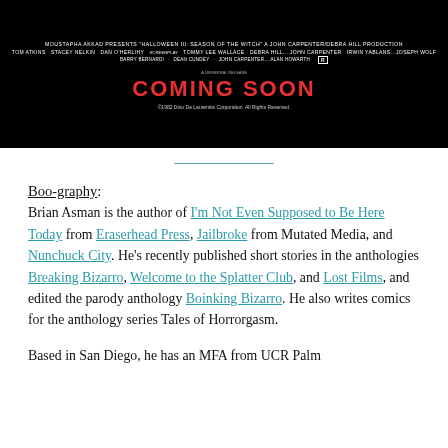[Figure (other): Movie poster for Halloween III: Season of the Witch. Black background with white text credits, red 'COMING SOON' text, and copyright line. Presents line: 'MOUSTAPHA AKKAD PRESENTS HALLOWEEN III: SEASON OF THE WITCH A JOHN CARPENTER / DEBRA HILL PRODUCTION'. Cast: TOM ATKINS, STACEY NELKIN, DAN O'HERLIHY, SCREENPLAY TOMMY LEE WALLACE, DEBRA HILL, JOHN CARPENTER, IRWIN YABLANS, JOSEPH WOLF. Crew: BARRY BERNARDI, DEAN CUNDEY, JOHN CARPENTER, ALAN HOWARTH. R rating box. Universal logo. COMING SOON in red. Copyright 1982 Dino De Laurentiis Corporation.]
Boo-graphy: Brian Asman is the author of I'm Not Even Supposed to Be Here Today from Eraserhead Press, Jailbroke from Mutated Media, and Nunchuck City. He's recently published short stories in the anthologies Breaking Bizarro, Welcome to the Splatter Club, and Lost Films, and edited the parody anthology Boinking Bizarro. He also writes comics for the anthology series Tales of Horrorgasm.
Based in San Diego, he has an MFA from UCR Palm...